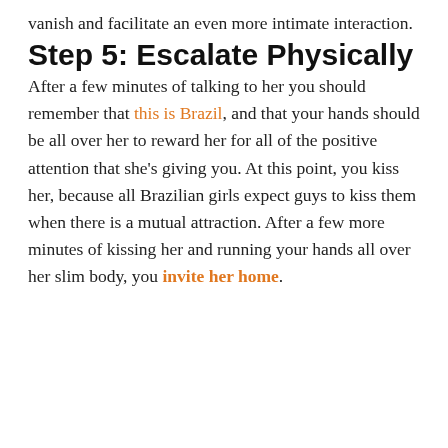vanish and facilitate an even more intimate interaction.
Step 5: Escalate Physically
After a few minutes of talking to her you should remember that this is Brazil, and that your hands should be all over her to reward her for all of the positive attention that she's giving you. At this point, you kiss her, because all Brazilian girls expect guys to kiss them when there is a mutual attraction. After a few more minutes of kissing her and running your hands all over her slim body, you invite her home.